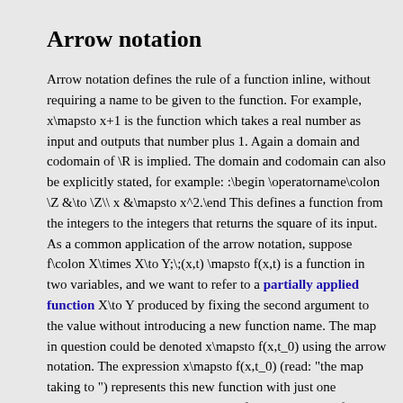Arrow notation
Arrow notation defines the rule of a function inline, without requiring a name to be given to the function. For example, x\mapsto x+1 is the function which takes a real number as input and outputs that number plus 1. Again a domain and codomain of \R is implied. The domain and codomain can also be explicitly stated, for example: :\begin \operatorname\colon \Z &\to \Z\\ x &\mapsto x^2.\end This defines a function from the integers to the integers that returns the square of its input. As a common application of the arrow notation, suppose f\colon X\times X\to Y;\;(x,t) \mapsto f(x,t) is a function in two variables, and we want to refer to a partially applied function X\to Y produced by fixing the second argument to the value without introducing a new function name. The map in question could be denoted x\mapsto f(x,t_0) using the arrow notation. The expression x\mapsto f(x,t_0) (read: "the map taking to ") represents this new function with just one argument, whereas the expression refers to the value of the function at the...